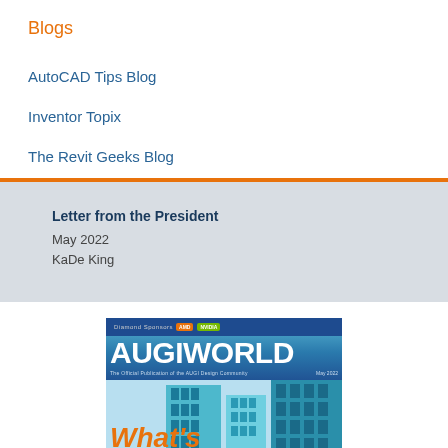Blogs
AutoCAD Tips Blog
Inventor Topix
The Revit Geeks Blog
Letter from the President
May 2022
KaDe King
[Figure (photo): AUGIWorld magazine cover for May 2022 showing the AUGIWORLD title in white on a blue background with a building/skyscraper image and 'What's' in orange italic text at the bottom. Diamond Sponsor logos visible at top.]